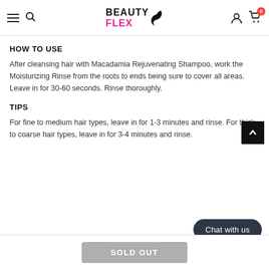BeautyFlex — navigation header with logo, hamburger menu, search, account, and cart (0 items)
HOW TO USE
After cleansing hair with Macadamia Rejuvenating Shampoo, work the Moisturizing Rinse from the roots to ends being sure to cover all areas. Leave in for 30-60 seconds. Rinse thoroughly.
TIPS
For fine to medium hair types, leave in for 1-3 minutes and rinse. For thick to coarse hair types, leave in for 3-4 minutes and rinse.
[Figure (other): Black square back-to-top button with upward chevron arrow]
[Figure (other): Dark rounded Chat with us button]
SOLD OUT